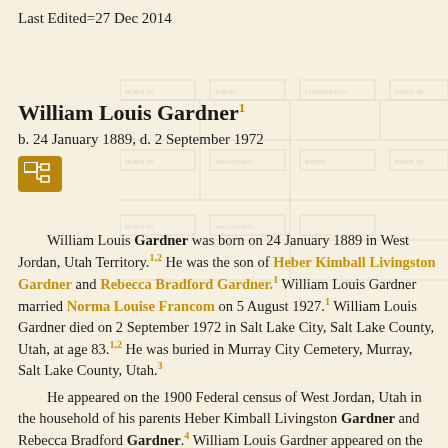Last Edited=27 Dec 2014
William Louis Gardner¹
b. 24 January 1889, d. 2 September 1972
[Figure (schematic): Faded genealogy family tree diagram in background]
William Louis Gardner was born on 24 January 1889 in West Jordan, Utah Territory.¹² He was the son of Heber Kimball Livingston Gardner and Rebecca Bradford Gardner.¹ William Louis Gardner married Norma Louise Francom on 5 August 1927.¹ William Louis Gardner died on 2 September 1972 in Salt Lake City, Salt Lake County, Utah, at age 83.¹² He was buried in Murray City Cemetery, Murray, Salt Lake County, Utah.³
He appeared on the 1900 Federal census of West Jordan, Utah in the household of his parents Heber Kimball Livingston Gardner and Rebecca Bradford Gardner.⁴ William Louis Gardner appeared on the 1910 Federal census of West Jordan, in Salt Lake County, Utah, enumerated 13 May 1910 in the household of Heber Kimball Livingston Gardner and Rebecca Bradford Gardner.⁵ William Louis Gardner appeared on the 1920 Federal census of West Jordan, Utah in the household of his